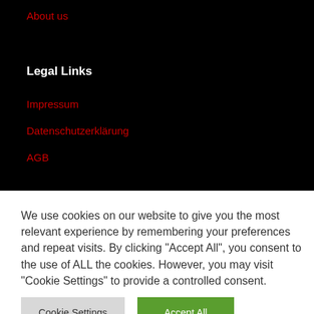About us
Legal Links
Impressum
Datenschutzerklärung
AGB
We use cookies on our website to give you the most relevant experience by remembering your preferences and repeat visits. By clicking "Accept All", you consent to the use of ALL the cookies. However, you may visit "Cookie Settings" to provide a controlled consent.
Cookie Settings
Accept All